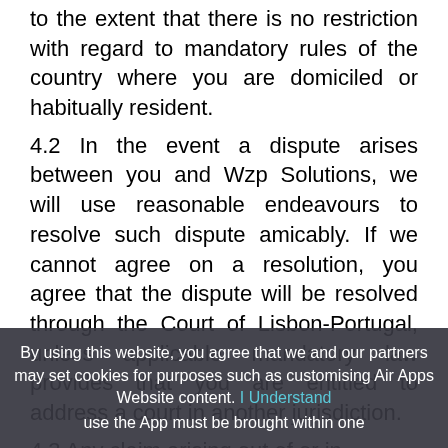to the extent that there is no restriction with regard to mandatory rules of the country where you are domiciled or habitually resident.
4.2 In the event a dispute arises between you and Wzp Solutions, we will use reasonable endeavours to resolve such dispute amicably. If we cannot agree on a resolution, you agree that the dispute will be resolved through the Court of Lisbon-Portugal, unless applicable mandatory law provides that you are entitled to address a court in another jurisdiction.
4.3 Any claim arising out of or in...
By using this website, you agree that we and our partners may set cookies for purposes such as customising Air Apps Website content. I Understand use the App must be brought within one